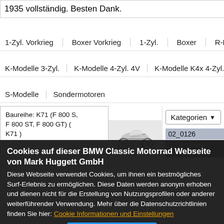1935 vollständig. Besten Dank.
1-Zyl. Vorkrieg
Boxer Vorkrieg
1-Zyl.
Boxer
R-Boxer
R
K-Modelle 3-Zyl.
K-Modelle 4-Zyl. 4V
K-Modelle K4x 4-Zyl.
K-Mod
S-Modelle
Sondermotoren
Baureihe: K71 (F 800 S, F 800 ST, F 800 GT) ( K71 )
[Figure (photo): BMW motorcycle, white/silver sport touring bike]
Kategorien
02_0126
Cookies auf dieser BMW Classic Motorrad Webseite von Mark Huggett GmbH
Diese Webseite verwendet Cookies, um ihnen ein bestmögliches Surf-Erlebnis zu ermöglichen. Diese Daten werden anonym erhoben und dienen nicht für die Erstellung von Nutzungsprofilen oder anderer weiterführender Verwendung. Mehr über die Datenschutzrichtlinien finden Sie hier: Cookie Informationen und Einstellungen
Schließen